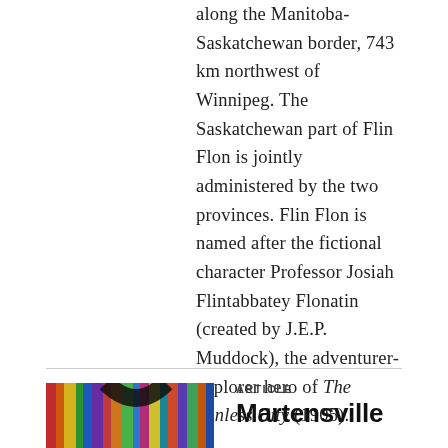along the Manitoba-Saskatchewan border, 743 km northwest of Winnipeg. The Saskatchewan part of Flin Flon is jointly administered by the two provinces. Flin Flon is named after the fictional character Professor Josiah Flintabbatey Flonatin (created by J.E.P. Muddock), the adventurer-explorer hero of The Sunless City (1905).
[Figure (photo): Colorful books arranged on a shelf viewed from the side, showing spines with various colors including red, orange, yellow, green, blue, purple.]
ARTICLE
Martensville